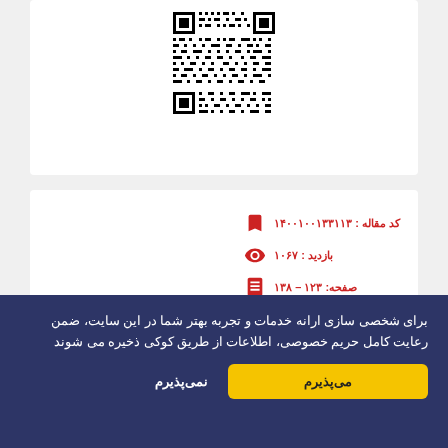[Figure (other): QR code image centered in a white card at the top of the page]
کد مقاله : ۱۴۰۰۱۰۰۱۳۳۱۱۳
بازدید : ۱۰۶۷
صفحه: ۱۲۳ – ۱۳۸
برای شخصی سازی ارانه خدمات و تجربه بهتر شما در این سایت، ضمن رعایت کامل حریم خصوصی، اطلاعات از طریق کوکی ذخیره می شوند
می‌پذیرم
نمی‌پذیرم
احمل پرخواری و مجرازی از تصویر جدی در